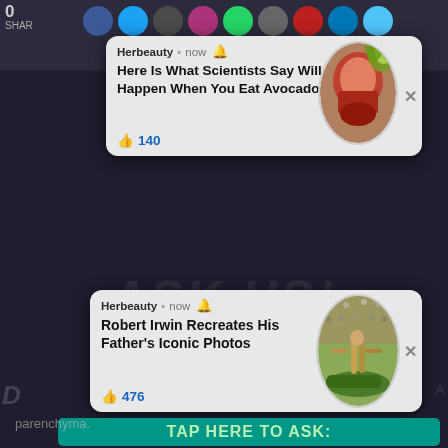[Figure (screenshot): Mobile browser notification card from Herbeauty: 'Here Is What Scientists Say Will Happen When You Eat Avocados' with 140 likes, showing a muscular anatomy image thumbnail]
[Figure (screenshot): Mobile browser notification card from Herbeauty: 'Robert Irwin Recreates His Father's Iconic Photos' with 476 likes, showing a crocodile/wildlife image thumbnail]
parenchyma.
Xylem fibres;
These are cells that are strengthened with lignin.
They form wood.
Xylem parenchyma: